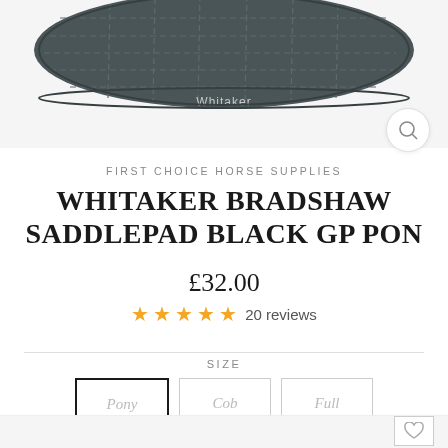[Figure (photo): Dark grey quilted Whitaker saddle pad photographed from above on white background, with Whitaker logo visible on the front]
FIRST CHOICE HORSE SUPPLIES
WHITAKER BRADSHAW SADDLEPAD BLACK GP PON
£32.00
★★★★★ 20 reviews
SIZE
Pony  Cob  Full